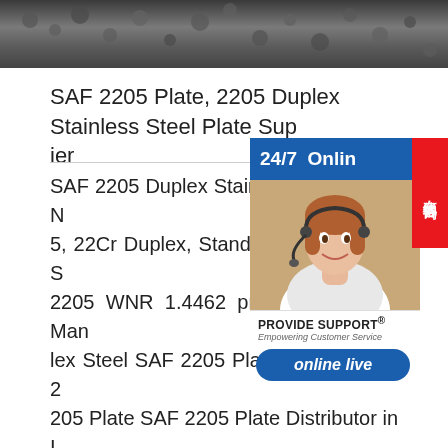[Figure (photo): Steel plates/materials photo strip at top of page]
SAF 2205 Plate, 2205 Duplex Stainless Steel Plate Supplier
SAF 2205 Duplex Stainless Steel Plate 5, 22Cr Duplex, Standard Duplex UNS S 2205 WNR 1.4462 price list in India Manufacturers lex Steel SAF 2205 Plate, Duplex SAF 2205 Plate SAF 2205 Plate Distributor in oto Of Our Duplex Steel SAF 2205 Plate bai, India.sp.infoDuplex stainless steel sheet Manufacturers Suppliers duplex stainless steel sheet manufacturer/supplier,China duplex stainless steel sheet factory list,find qualified Chinese duplex stainless steel sheet manufacturers suppliers factories exporters wholesal
[Figure (other): 24/7 online live chat widget with customer service representative photo, Provide Support branding, and online live button]